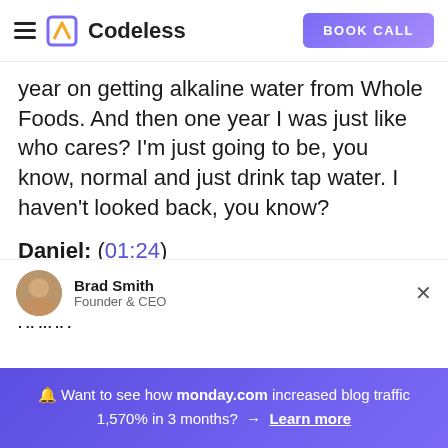Codeless | BOOK CALL
year on getting alkaline water from Whole Foods. And then one year I was just like who cares? I'm just going to be, you know, normal and just drink tap water. I haven't looked back, you know?
Daniel: (01:24)
Anyway, so our topic today that we're going
Brad Smith
Founder & CEO
🔔 Want to see how monday.com increased blog traffic 1,570% in 3 months? → Learn more